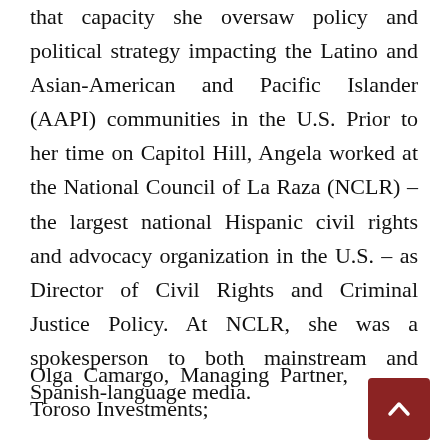that capacity she oversaw policy and political strategy impacting the Latino and Asian-American and Pacific Islander (AAPI) communities in the U.S. Prior to her time on Capitol Hill, Angela worked at the National Council of La Raza (NCLR) – the largest national Hispanic civil rights and advocacy organization in the U.S. – as Director of Civil Rights and Criminal Justice Policy. At NCLR, she was a spokesperson to both mainstream and Spanish-language media.
Olga Camargo, Managing Partner, Toroso Investments;